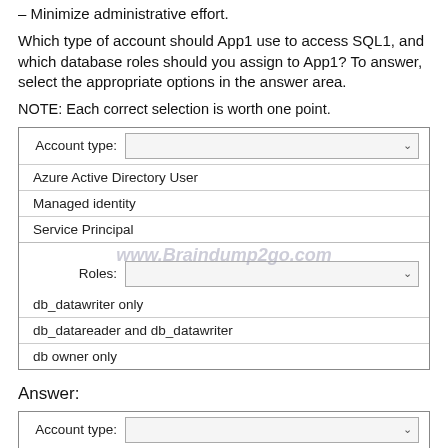– Minimize administrative effort.
Which type of account should App1 use to access SQL1, and which database roles should you assign to App1? To answer, select the appropriate options in the answer area.
NOTE: Each correct selection is worth one point.
[Figure (screenshot): Dropdown UI for Account type with options: Azure Active Directory User, Managed identity, Service Principal. Dropdown for Roles with options: db_datawriter only, db_datareader and db_datawriter, db owner only.]
Answer:
[Figure (screenshot): Answer dropdown UI for Account type with Azure Active Directory User and Managed identity (highlighted in green) visible.]